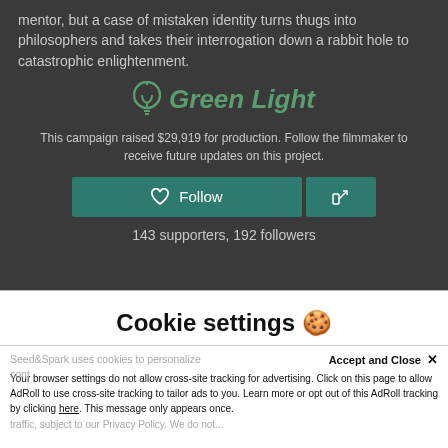mentor, but a case of mistaken identity turns thugs into philosophers and takes their interrogation down a rabbit hole to catastrophic enlightenment.
[Figure (logo): Green Light logo with lightbulb icon and italic green text]
This campaign raised $29,919 for production. Follow the filmmaker to receive future updates on this project.
143 supporters, 192 followers
Cookie settings 🍪
Seed&Spark uses cookies to personalize cont...
Your browser settings do not allow cross-site tracking for advertising. Click on this page to allow AdRoll to use cross-site tracking to tailor ads to you. Learn more or opt out of this AdRoll tracking by clicking here. This message only appears once.
traffic, subject to our Privacy Policy. We do not...